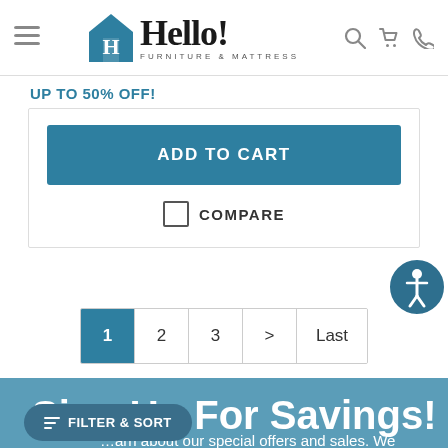Hello! Furniture & Mattress — navigation header with hamburger menu, logo, search, cart, and phone icons
UP TO 50% OFF!
ADD TO CART
COMPARE
[Figure (other): Accessibility icon button — circular teal button with person/wheelchair accessibility symbol]
1   2   3   >   Last
Sign Up For Savings!
…arn about our special offers and sales. We promise to keep your
FILTER & SORT